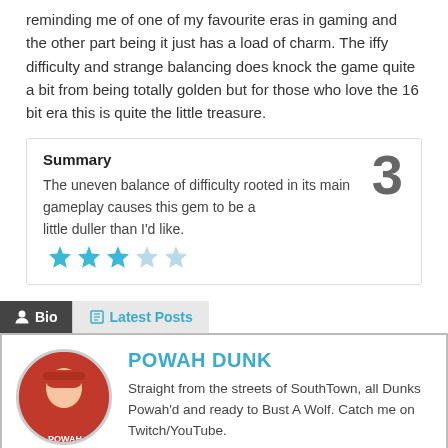reminding me of one of my favourite eras in gaming and the other part being it just has a load of charm. The iffy difficulty and strange balancing does knock the game quite a bit from being totally golden but for those who love the 16 bit era this is quite the little treasure.
Summary
The uneven balance of difficulty rooted in its main gameplay causes this gem to be a little duller than I'd like.
3
Bio
Latest Posts
POWAH DUNK
Straight from the streets of SouthTown, all Dunks Powah'd and ready to Bust A Wolf. Catch me on Twitch/YouTube.